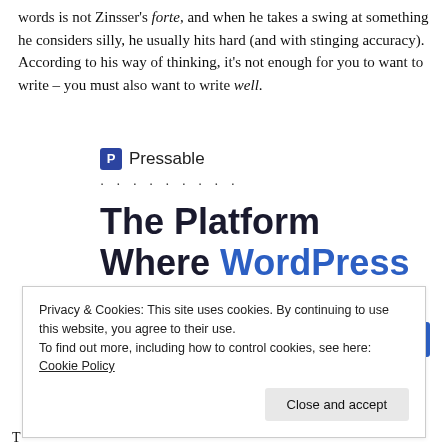words is not Zinsser's forte, and when he takes a swing at something he considers silly, he usually hits hard (and with stinging accuracy). According to his way of thinking, it's not enough for you to want to write – you must also want to write well.
[Figure (other): Pressable advertisement with logo, dotted separator, and headline 'The Platform Where WordPress Works Best' with a blue 'SEE PRICING' button]
Privacy & Cookies: This site uses cookies. By continuing to use this website, you agree to their use.
To find out more, including how to control cookies, see here: Cookie Policy